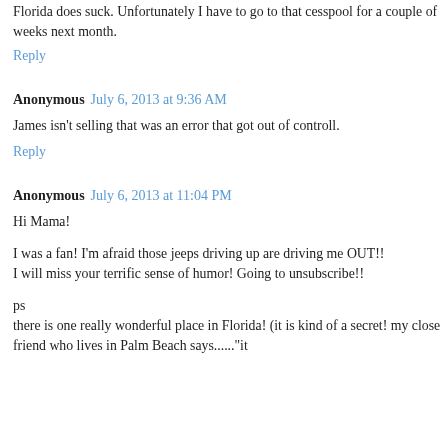Florida does suck. Unfortunately I have to go to that cesspool for a couple of weeks next month.
Reply
Anonymous  July 6, 2013 at 9:36 AM
James isn't selling that was an error that got out of controll.
Reply
Anonymous  July 6, 2013 at 11:04 PM
Hi Mama!
I was a fan! I'm afraid those jeeps driving up are driving me OUT!!
I will miss your terrific sense of humor! Going to unsubscribe!!
ps
there is one really wonderful place in Florida! (it is kind of a secret! my close friend who lives in Palm Beach says......"it